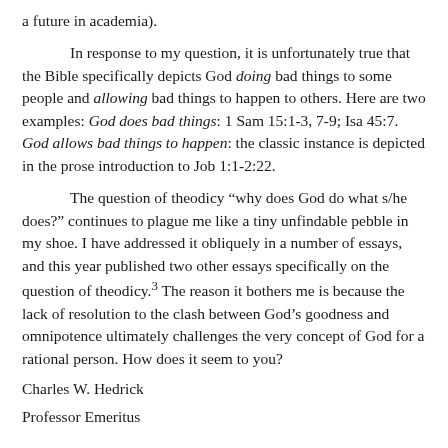a future in academia).
In response to my question, it is unfortunately true that the Bible specifically depicts God doing bad things to some people and allowing bad things to happen to others. Here are two examples: God does bad things: 1 Sam 15:1-3, 7-9; Isa 45:7. God allows bad things to happen: the classic instance is depicted in the prose introduction to Job 1:1-2:22.
The question of theodicy “why does God do what s/he does?” continues to plague me like a tiny unfindable pebble in my shoe. I have addressed it obliquely in a number of essays, and this year published two other essays specifically on the question of theodicy.³ The reason it bothers me is because the lack of resolution to the clash between God’s goodness and omnipotence ultimately challenges the very concept of God for a rational person. How does it seem to you?
Charles W. Hedrick
Professor Emeritus